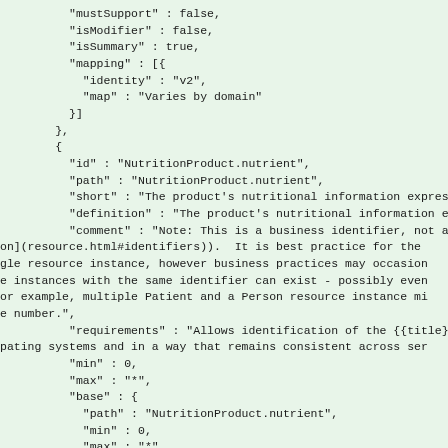JSON/FHIR code snippet showing NutritionProduct.nutrient element definition with fields: mustSupport, isModifier, isSummary, mapping, id, path, short, definition, comment, requirements, min, max, base, type